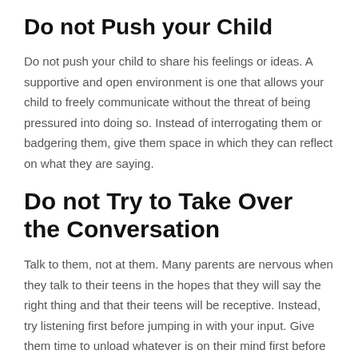Do not Push your Child
Do not push your child to share his feelings or ideas. A supportive and open environment is one that allows your child to freely communicate without the threat of being pressured into doing so. Instead of interrogating them or badgering them, give them space in which they can reflect on what they are saying.
Do not Try to Take Over the Conversation
Talk to them, not at them. Many parents are nervous when they talk to their teens in the hopes that they will say the right thing and that their teens will be receptive. Instead, try listening first before jumping in with your input. Give them time to unload whatever is on their mind first before talking about what you see happening or ho…